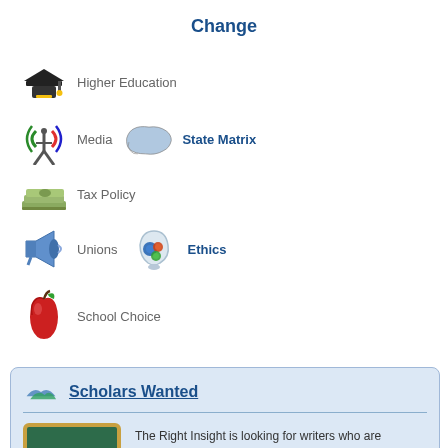Change
Higher Education
Media
State Matrix
Tax Policy
Unions
Ethics
School Choice
Scholars Wanted
The Right Insight is looking for writers who are qualified content areas. Learn More...